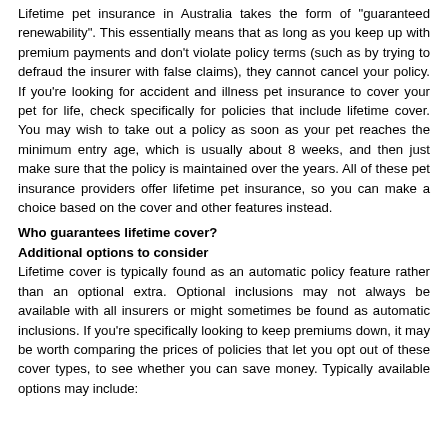Lifetime pet insurance in Australia takes the form of "guaranteed renewability". This essentially means that as long as you keep up with premium payments and don't violate policy terms (such as by trying to defraud the insurer with false claims), they cannot cancel your policy. If you're looking for accident and illness pet insurance to cover your pet for life, check specifically for policies that include lifetime cover. You may wish to take out a policy as soon as your pet reaches the minimum entry age, which is usually about 8 weeks, and then just make sure that the policy is maintained over the years. All of these pet insurance providers offer lifetime pet insurance, so you can make a choice based on the cover and other features instead.
Who guarantees lifetime cover?
Additional options to consider
Lifetime cover is typically found as an automatic policy feature rather than an optional extra. Optional inclusions may not always be available with all insurers or might sometimes be found as automatic inclusions. If you're specifically looking to keep premiums down, it may be worth comparing the prices of policies that let you opt out of these cover types, to see whether you can save money. Typically available options may include: